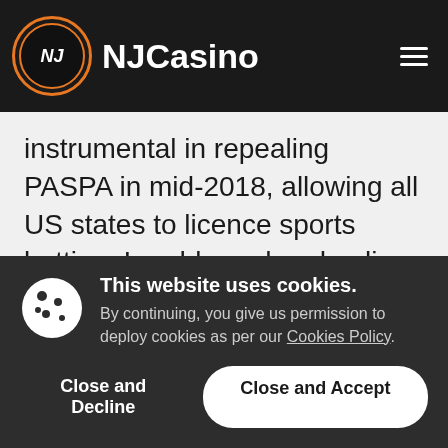NJCasino
instrumental in repealing PASPA in mid-2018, allowing all US states to licence sports betting. Land-based and online betting is regulated by the NJ DGE in line with the Sports Wager Law 2018. The NJ Racing Commission issues initial sports betting licenses to racetracks, with
This website uses cookies. By continuing, you give us permission to deploy cookies as per our Cookies Policy.
Close and Decline
Close and Accept